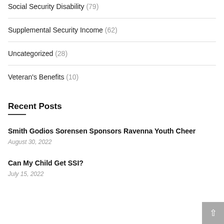Social Security Disability (79)
Supplemental Security Income (62)
Uncategorized (28)
Veteran's Benefits (10)
Recent Posts
Smith Godios Sorensen Sponsors Ravenna Youth Cheer
August 30, 2022
Can My Child Get SSI?
July 15, 2022